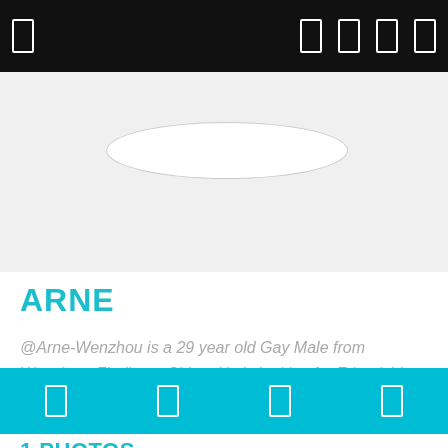[Figure (screenshot): Mobile app profile page header with dark status bar showing signal/battery icons, a light gray cover photo area with a white oval placeholder, user name ARNE in teal, bio text in gray italic, a teal action bar with four icon buttons, and a 1 PHOTOS section header in teal.]
ARNE
@Arne-Wenzhou is a 29 year old Gay Male from Wenzhou, Zhejiang, China. He is looking for Friendship and Chat.
1 PHOTOS